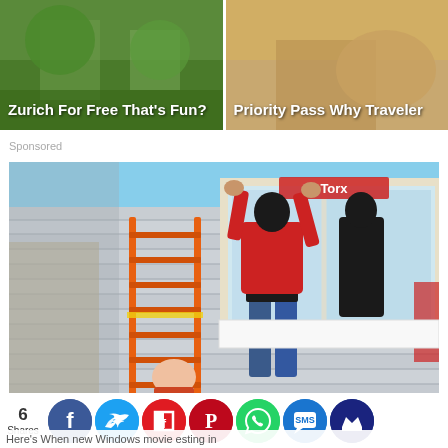[Figure (photo): Thumbnail image left: green outdoor scene with text 'Zurich For Free That's Fun?']
[Figure (photo): Thumbnail image right: warm-toned scene with text 'Priority Pass Why Traveler']
Sponsored
[Figure (photo): Main sponsored image: workers on an orange ladder installing windows on a house with gray siding. Person in red shirt prominently visible.]
6
Shares
[Figure (infographic): Social sharing icons: Facebook (blue), Twitter (light blue), Flipboard (red), Pinterest (dark red), WhatsApp (green), SMS (blue), Crown (dark blue)]
Here's When new Windows movie esting in